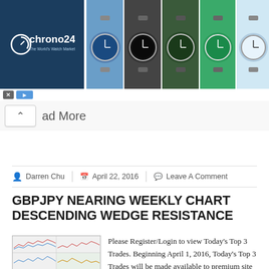[Figure (advertisement): Chrono24 watch marketplace advertisement banner showing logo on dark blue left panel and five watch photos on the right]
ad More
Darren Chu  |  April 22, 2016  |  Leave A Comment
GBPJPY NEARING WEEKLY CHART DESCENDING WEDGE RESISTANCE
[Figure (screenshot): Trading chart thumbnail showing GBPJPY weekly chart with descending wedge pattern]
Please Register/Login to view Today’s Top 3 Trades. Beginning April 1, 2016, Today’s Top 3 Trades will be made available to premium site members, with Today’s Top Trade available to those with